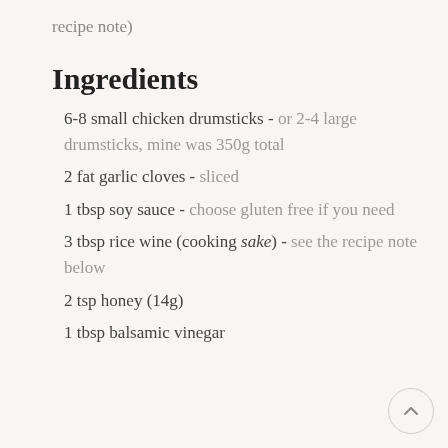recipe note)
Ingredients
6-8 small chicken drumsticks - or 2-4 large drumsticks, mine was 350g total
2 fat garlic cloves - sliced
1 tbsp soy sauce - choose gluten free if you need
3 tbsp rice wine (cooking sake) - see the recipe note below
2 tsp honey (14g)
1 tbsp balsamic vinegar